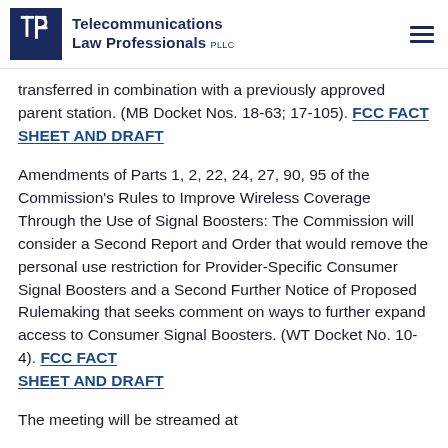Telecommunications Law Professionals PLLC
transferred in combination with a previously approved parent station. (MB Docket Nos. 18-63; 17-105). FCC FACT SHEET AND DRAFT
Amendments of Parts 1, 2, 22, 24, 27, 90, 95 of the Commission's Rules to Improve Wireless Coverage Through the Use of Signal Boosters: The Commission will consider a Second Report and Order that would remove the personal use restriction for Provider-Specific Consumer Signal Boosters and a Second Further Notice of Proposed Rulemaking that seeks comment on ways to further expand access to Consumer Signal Boosters. (WT Docket No. 10-4). FCC FACT SHEET AND DRAFT
The meeting will be streamed at